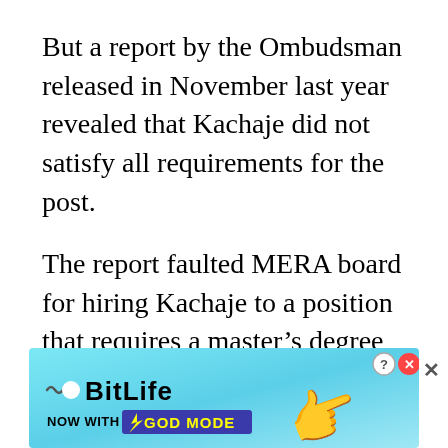But a report by the Ombudsman released in November last year revealed that Kachaje did not satisfy all requirements for the post.
The report faulted MERA board for hiring Kachaje to a position that requires a master’s degree when Kachaje had no master’s degree at the time he was being offered the job.
[Figure (screenshot): Advertisement banner for BitLife game: 'BitLife - Now with God Mode' with lightning bolt graphic and pointing hand emoji on a light blue background]